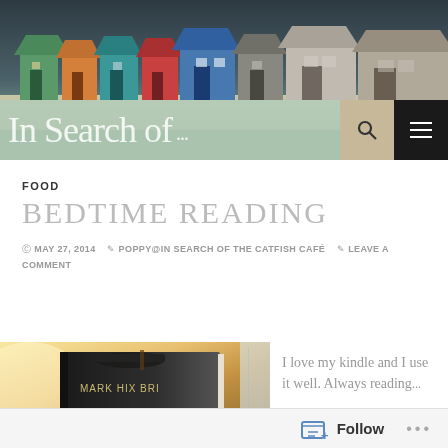[Figure (screenshot): Blog website header with beach huts photo, sage green logo banner reading 'In Search of ...' with search and menu icons]
FOOD
BEDTIME READING
MAY 27, 2014   POPPY@IN SEARCH OF THE CATFISH CAFÉ   LEAVE A COMMENT
[Figure (photo): Close-up photo of a book spine reading MARK HIX BRI... with dark cover and leather strap/glasses on top, warm backlit glow]
I love my kindle and I use it well. Always reading...
Follow   ...